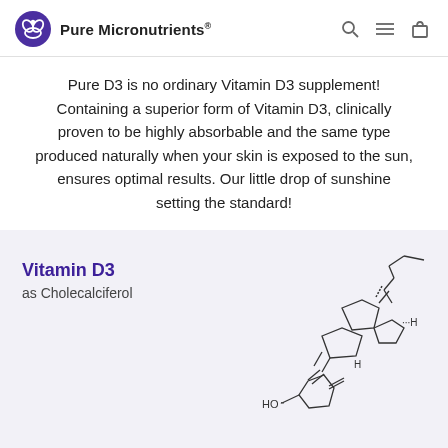Pure Micronutrients
Pure D3 is no ordinary Vitamin D3 supplement! Containing a superior form of Vitamin D3, clinically proven to be highly absorbable and the same type produced naturally when your skin is exposed to the sun, ensures optimal results. Our little drop of sunshine setting the standard!
Vitamin D3
as Cholecalciferol
[Figure (engineering-diagram): Chemical structure diagram of Cholecalciferol (Vitamin D3) showing the molecular structure with HO group at the bottom, methylene group, two double bonds, ring system, and isooctyl side chain at the top right.]
View Supplement Facts    Suggested Use & Warnings